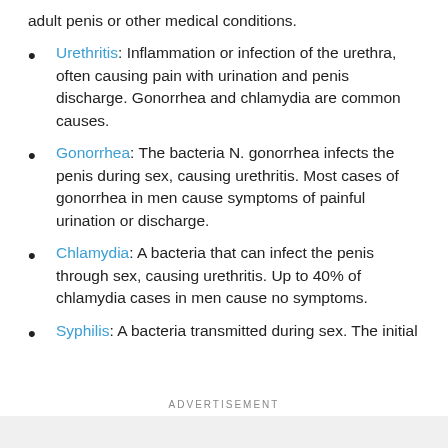adult penis or other medical conditions.
Urethritis: Inflammation or infection of the urethra, often causing pain with urination and penis discharge. Gonorrhea and chlamydia are common causes.
Gonorrhea: The bacteria N. gonorrhea infects the penis during sex, causing urethritis. Most cases of gonorrhea in men cause symptoms of painful urination or discharge.
Chlamydia: A bacteria that can infect the penis through sex, causing urethritis. Up to 40% of chlamydia cases in men cause no symptoms.
Syphilis: A bacteria transmitted during sex. The initial
ADVERTISEMENT